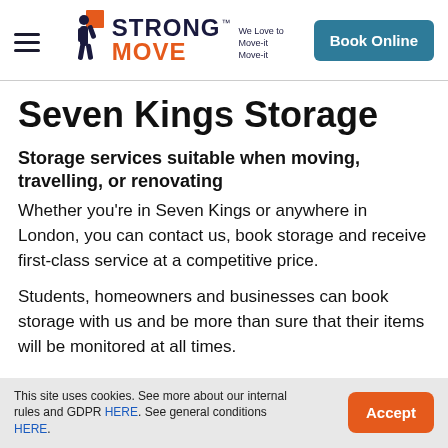Strong Move — We Love to Move-it Move-it | Book Online
Seven Kings Storage
Storage services suitable when moving, travelling, or renovating
Whether you're in Seven Kings or anywhere in London, you can contact us, book storage and receive first-class service at a competitive price.
Students, homeowners and businesses can book storage with us and be more than sure that their items will be monitored at all times.
This site uses cookies. See more about our internal rules and GDPR HERE. See general conditions HERE.